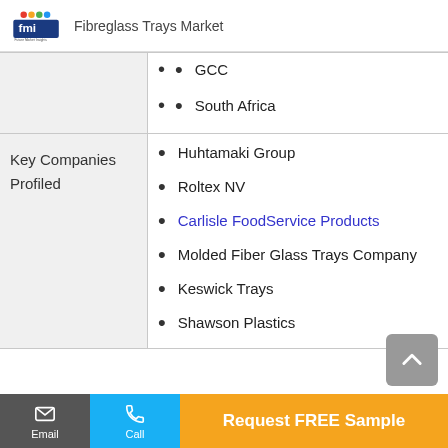Fibreglass Trays Market
GCC
South Africa
Key Companies Profiled
Huhtamaki Group
Roltex NV
Carlisle FoodService Products
Molded Fiber Glass Trays Company
Keswick Trays
Shawson Plastics
Email   Call   Request FREE Sample